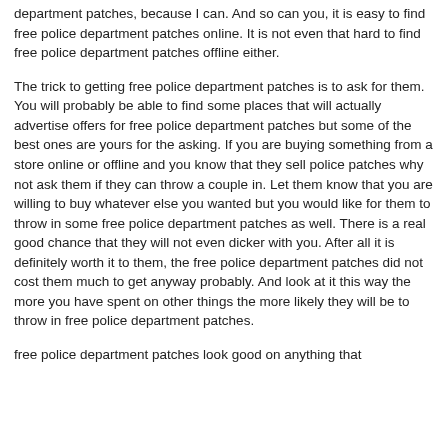department patches, because I can. And so can you, it is easy to find free police department patches online. It is not even that hard to find free police department patches offline either.
The trick to getting free police department patches is to ask for them. You will probably be able to find some places that will actually advertise offers for free police department patches but some of the best ones are yours for the asking. If you are buying something from a store online or offline and you know that they sell police patches why not ask them if they can throw a couple in. Let them know that you are willing to buy whatever else you wanted but you would like for them to throw in some free police department patches as well. There is a real good chance that they will not even dicker with you. After all it is definitely worth it to them, the free police department patches did not cost them much to get anyway probably. And look at it this way the more you have spent on other things the more likely they will be to throw in free police department patches.
free police department patches look good on anything that